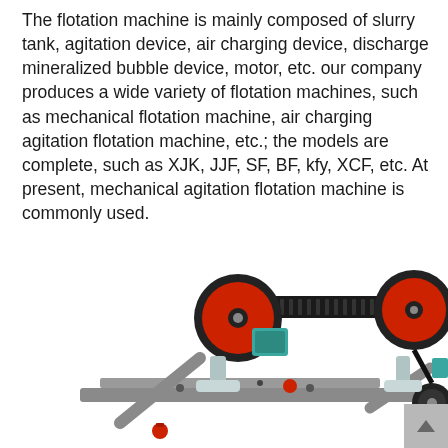The flotation machine is mainly composed of slurry tank, agitation device, air charging device, discharge mineralized bubble device, motor, etc. our company produces a wide variety of flotation machines, such as mechanical flotation machine, air charging agitation flotation machine, etc.; the models are complete, such as XJK, JJF, SF, BF, kfy, XCF, etc. At present, mechanical agitation flotation machine is commonly used.
[Figure (photo): A 3D rendered image of a flotation machine showing the mechanical components including drive wheels (red/black), belt drive system, impeller assemblies, pink/light-colored support stands, teal motor units, and a gray frame structure. A gray scroll-to-top button with an upward arrow is visible in the bottom-right corner.]